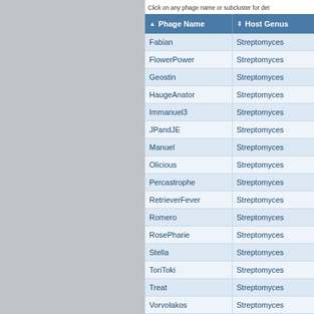Click on any phage name or subcluster for det
| Phage Name | Host Genus |
| --- | --- |
| Fabian | Streptomyces |
| FlowerPower | Streptomyces |
| Geostin | Streptomyces |
| HaugeAnator | Streptomyces |
| Immanuel3 | Streptomyces |
| JPandJE | Streptomyces |
| Manuel | Streptomyces |
| Olicious | Streptomyces |
| Percastrophe | Streptomyces |
| RetrieverFever | Streptomyces |
| Romero | Streptomyces |
| RosePharie | Streptomyces |
| Stella | Streptomyces |
| ToriToki | Streptomyces |
| Treat | Streptomyces |
| Vorvolakos | Streptomyces |